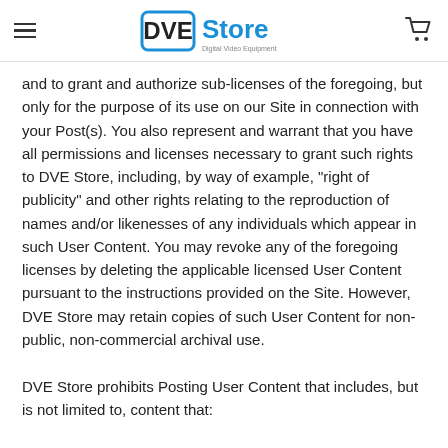DVE Store — Digital Video Equipment
and to grant and authorize sub-licenses of the foregoing, but only for the purpose of its use on our Site in connection with your Post(s). You also represent and warrant that you have all permissions and licenses necessary to grant such rights to DVE Store, including, by way of example, "right of publicity" and other rights relating to the reproduction of names and/or likenesses of any individuals which appear in such User Content. You may revoke any of the foregoing licenses by deleting the applicable licensed User Content pursuant to the instructions provided on the Site. However, DVE Store may retain copies of such User Content for non-public, non-commercial archival use.
DVE Store prohibits Posting User Content that includes, but is not limited to, content that:
a. is patently offensive to the community, such as content that promotes racism, bigotry, hatred or physical harm of